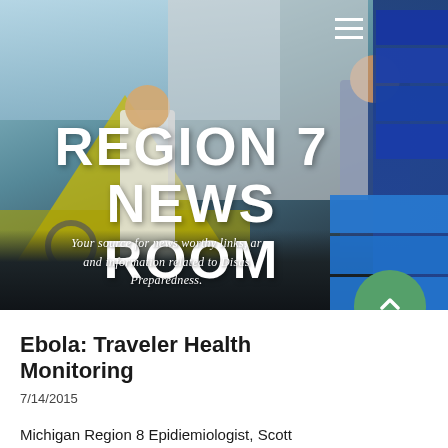[Figure (photo): Hero banner photo showing medical/emergency personnel in scrubs walking near a white trailer/vehicle with blue medical equipment visible on the right side and a yellow tent on the left. Background shows outdoor emergency preparedness scene.]
REGION 7 NEWS ROOM
Your source for news worthy links, articles and information related to Disaster Preparedness.
Ebola: Traveler Health Monitoring
7/14/2015
Michigan Region 8 Epidiemiologist, Scott